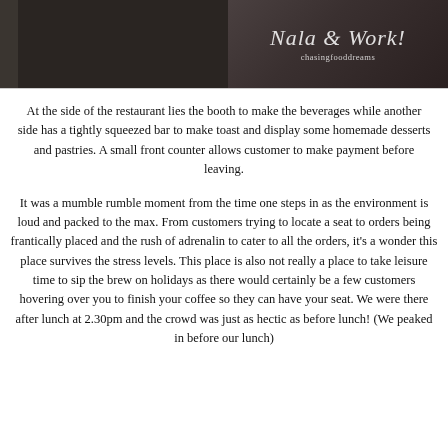[Figure (photo): Dark photograph of a restaurant interior showing beverage booth area and bar, with cursive text overlay and chasingfooddreams watermark]
At the side of the restaurant lies the booth to make the beverages while another side has a tightly squeezed bar to make toast and display some homemade desserts and pastries. A small front counter allows customer to make payment before leaving.
It was a mumble rumble moment from the time one steps in as the environment is loud and packed to the max. From customers trying to locate a seat to orders being frantically placed and the rush of adrenalin to cater to all the orders, it's a wonder this place survives the stress levels. This place is also not really a place to take leisure time to sip the brew on holidays as there would certainly be a few customers hovering over you to finish your coffee so they can have your seat. We were there after lunch at 2.30pm and the crowd was just as hectic as before lunch! (We peaked in before our lunch)